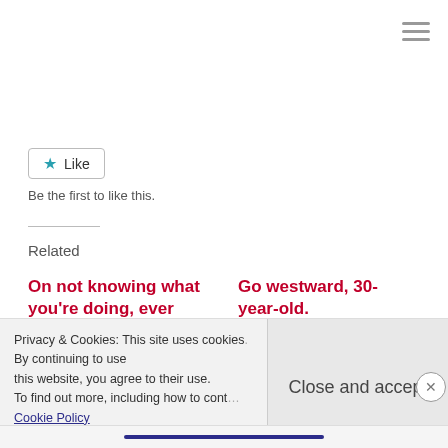[Figure (other): Hamburger menu icon (three horizontal lines) in upper right corner]
[Figure (other): Like button with star icon]
Be the first to like this.
Related
On not knowing what you’re doing, ever
Go westward, 30-year-old.
Privacy & Cookies: This site uses cookies. By continuing to use this website, you agree to their use. To find out more, including how to control cookies, see here: Cookie Policy
Close and accept